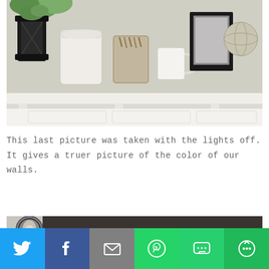[Figure (photo): Photo of a white decorative wall shelf with various home decor items: a black lantern with plants, a white jar candle, a glass jar with wood pieces, a white mug, a framed black and white photo, and a globe figurine.]
This last picture was taken with the lights off. It gives a truer picture of the color of our walls.
[Figure (photo): Photo taken with lights off showing a dark wall color, a ceiling lamp/lantern fixture, and a white framed mirror or picture below.]
[Figure (infographic): Social sharing bar with buttons for Twitter (blue), Facebook (dark blue), Email (gray), WhatsApp (green), SMS (green), and More (green).]